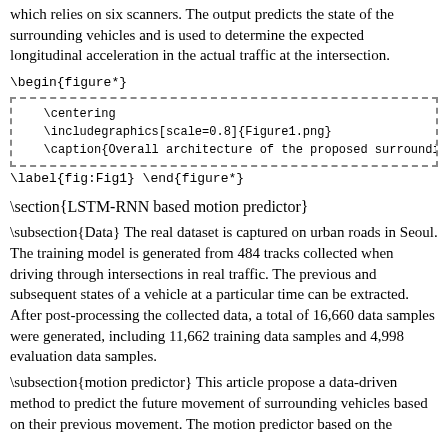which relies on six scanners. The output predicts the state of the surrounding vehicles and is used to determine the expected longitudinal acceleration in the actual traffic at the intersection.
\begin{figure*}
[Figure (other): LaTeX code block with dashed border containing: \centering, \includegraphics[scale=0.8]{Figure1.png}, \caption{Overall architecture of the proposed surrounding target tr...]
\label{fig:Fig1} \end{figure*}
\section{LSTM-RNN based motion predictor}
\subsection{Data} The real dataset is captured on urban roads in Seoul. The training model is generated from 484 tracks collected when driving through intersections in real traffic. The previous and subsequent states of a vehicle at a particular time can be extracted. After post-processing the collected data, a total of 16,660 data samples were generated, including 11,662 training data samples and 4,998 evaluation data samples.
\subsection{motion predictor} This article propose a data-driven method to predict the future movement of surrounding vehicles based on their previous movement. The motion predictor based on the